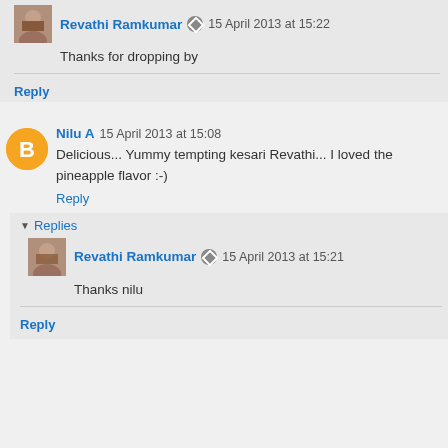Revathi Ramkumar · 15 April 2013 at 15:22
Thanks for dropping by
Reply
Nilu A · 15 April 2013 at 15:08
Delicious... Yummy tempting kesari Revathi... I loved the pineapple flavor :-)
Reply
Replies
Revathi Ramkumar · 15 April 2013 at 15:21
Thanks nilu
Reply